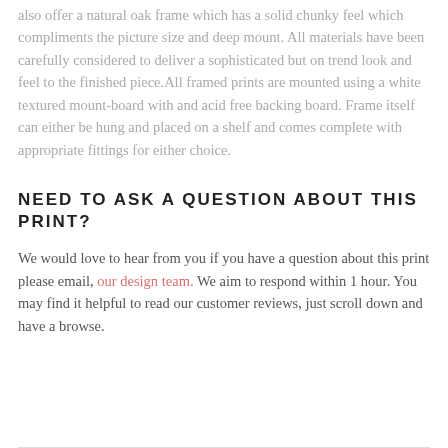also offer a natural oak frame which has a solid chunky feel which compliments the picture size and deep mount. All materials have been carefully considered to deliver a sophisticated but on trend look and feel to the finished piece.All framed prints are mounted using a white textured mount-board with and acid free backing board. Frame itself can either be hung and placed on a shelf and comes complete with appropriate fittings for either choice.
NEED TO ASK A QUESTION ABOUT THIS PRINT?
We would love to hear from you if you have a question about this print please email, our design team. We aim to respond within 1 hour. You may find it helpful to read our customer reviews, just scroll down and have a browse.